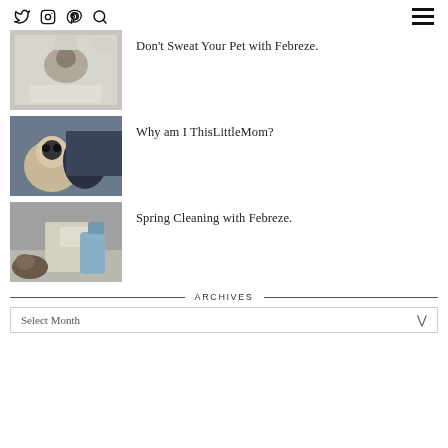Social icons: Twitter, Instagram, Pinterest, Search; Hamburger menu
[Figure (photo): Woman playing with a black dog on a white bed]
Don't Sweat Your Pet with Febreze.
[Figure (photo): Smiling woman with sunglasses in car with black dog]
Why am I ThisLittleMom?
[Figure (photo): Cat on couch next to Febreze products and a decorative sign]
Spring Cleaning with Febreze.
ARCHIVES
Select Month